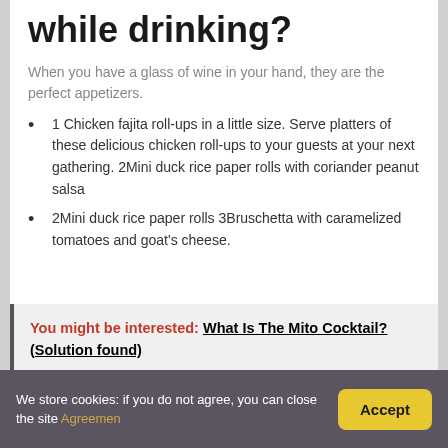while drinking?
When you have a glass of wine in your hand, they are the perfect appetizers.
1 Chicken fajita roll-ups in a little size. Serve platters of these delicious chicken roll-ups to your guests at your next gathering. 2Mini duck rice paper rolls with coriander peanut salsa
2Mini duck rice paper rolls 3Bruschetta with caramelized tomatoes and goat's cheese.
You might be interested: What Is The Mito Cocktail? (Solution found)
We store cookies: if you do not agree, you can close the site Agreemen  Accept